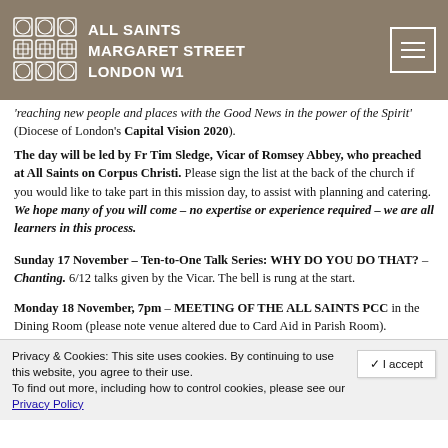ALL SAINTS MARGARET STREET LONDON W1
'reaching new people and places with the Good News in the power of the Spirit' (Diocese of London's Capital Vision 2020).
The day will be led by Fr Tim Sledge, Vicar of Romsey Abbey, who preached at All Saints on Corpus Christi. Please sign the list at the back of the church if you would like to take part in this mission day, to assist with planning and catering. We hope many of you will come – no expertise or experience required – we are all learners in this process.
Sunday 17 November – Ten-to-One Talk Series: WHY DO YOU DO THAT? – Chanting. 6/12 talks given by the Vicar. The bell is rung at the start.
Monday 18 November, 7pm – MEETING OF THE ALL SAINTS PCC in the Dining Room (please note venue altered due to Card Aid in Parish Room).
Privacy & Cookies: This site uses cookies. By continuing to use this website, you agree to their use. To find out more, including how to control cookies, please see our Privacy Policy